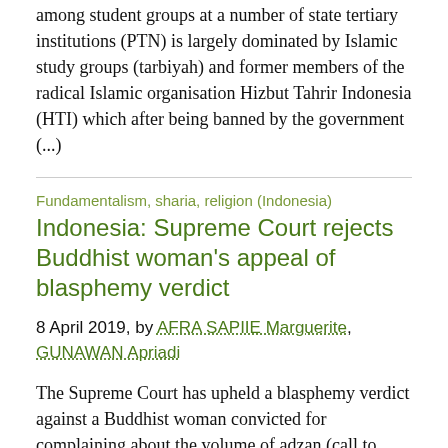among student groups at a number of state tertiary institutions (PTN) is largely dominated by Islamic study groups (tarbiyah) and former members of the radical Islamic organisation Hizbut Tahrir Indonesia (HTI) which after being banned by the government (...)
Fundamentalism, sharia, religion (Indonesia)
Indonesia: Supreme Court rejects Buddhist woman's appeal of blasphemy verdict
8 April 2019, by AFRA SAPIIE Marguerite, GUNAWAN Apriadi
The Supreme Court has upheld a blasphemy verdict against a Buddhist woman convicted for complaining about the volume of adzan (call to prayer).
In a ruling dated March 27 and posted on the